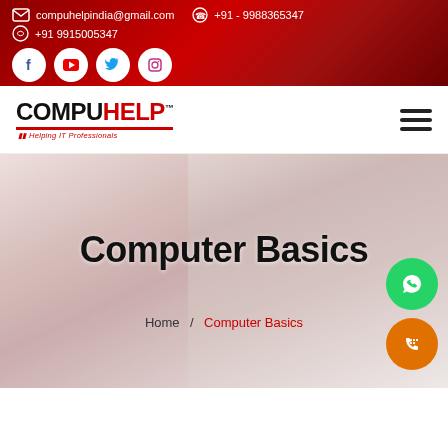compuhelpindia@gmail.com  |  +91 - 9988365347  |  +91 9915005347
[Figure (logo): CompuHelp logo with tagline Helping IT Professionals]
Computer Basics
Home / Computer Basics